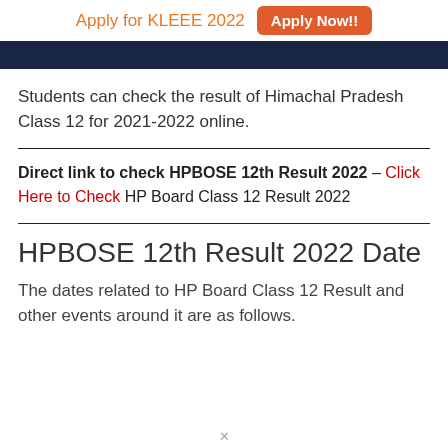Apply for KLEEE 2022   Apply Now!!
[Figure (other): Dark navy blue banner bar]
Students can check the result of Himachal Pradesh Class 12 for 2021-2022 online.
Direct link to check HPBOSE 12th Result 2022 – Click Here to Check HP Board Class 12 Result 2022
HPBOSE 12th Result 2022 Date
The dates related to HP Board Class 12 Result and other events around it are as follows.